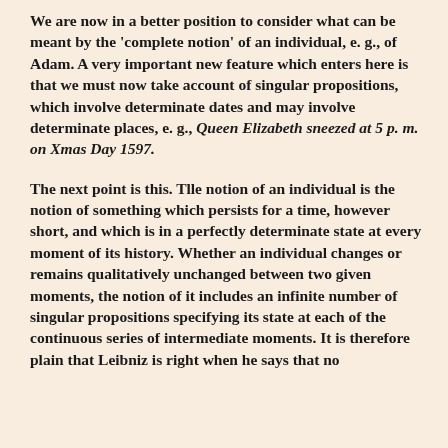We are now in a better position to consider what can be meant by the 'complete notion' of an individual, e. g., of Adam. A very important new feature which enters here is that we must now take account of singular propositions, which involve determinate dates and may involve determinate places, e. g., Queen Elizabeth sneezed at 5 p. m. on Xmas Day 1597.
The next point is this. Tlle notion of an individual is the notion of something which persists for a time, however short, and which is in a perfectly determinate state at every moment of its history. Whether an individual changes or remains qualitatively unchanged between two given moments, the notion of it includes an infinite number of singular propositions specifying its state at each of the continuous series of intermediate moments. It is therefore plain that Leibniz is right when he says that no